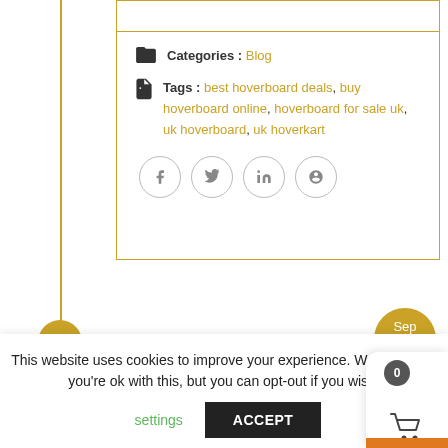Categories : Blog
Tags : best hoverboard deals, buy hoverboard online, hoverboard for sale uk, uk hoverboard, uk hoverkart
[Figure (other): Social sharing buttons: Facebook, Twitter, LinkedIn, Pinterest]
[Figure (other): Date badge showing Sep 15]
This website uses cookies to improve your experience. We'll assume you're ok with this, but you can opt-out if you wish.
settings    ACCEPT